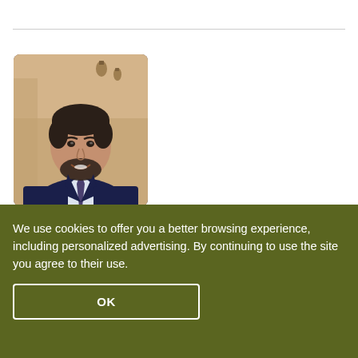[Figure (photo): Professional headshot of a man in a dark navy suit with a purple/blue tie and white shirt, dark hair, beard, smiling, indoor background with warm lighting and hanging lanterns visible.]
We use cookies to offer you a better browsing experience, including personalized advertising. By continuing to use the site you agree to their use.
OK